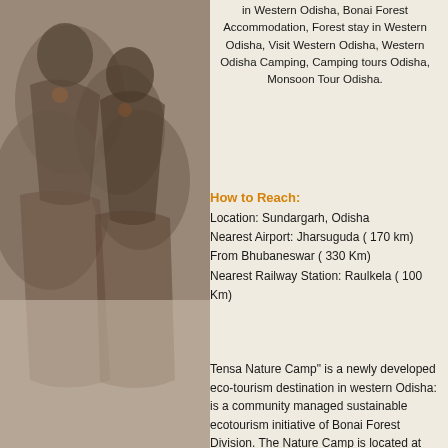[Figure (photo): Decorative background image showing tribal or cultural figures/dancers in grayscale on the left side of the page]
in Western Odisha, Bonai Forest Accommodation, Forest stay in Western Odisha, Visit Western Odisha, Western Odisha Camping, Camping tours Odisha, Monsoon Tour Odisha.
How to Reach:
Location: Sundargarh, Odisha
Nearest Airport: Jharsuguda ( 170 km)
From Bhubaneswar ( 330 Km)
Nearest Railway Station: Raulkela ( 100 Km)
Tensa Nature Camp" is a newly developed eco-tourism destination in western Odisha: is a community managed sustainable ecotourism initiative of Bonai Forest Division. The Nature Camp is located at "Tensa" by local it is preferably called "the Natural hill station of Sundargarh". At an altitude of 818 m. above sea level make this place the colder place even in Summer season. This is completely offbeat destination and any one who loves nature